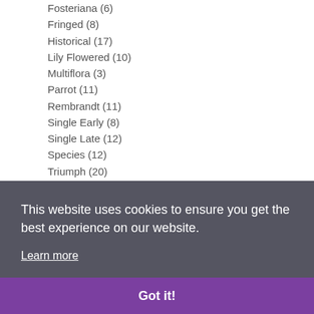Fosteriana (6)
Fringed (8)
Historical (17)
Lily Flowered (10)
Multiflora (3)
Parrot (11)
Rembrandt (11)
Single Early (8)
Single Late (12)
Species (12)
Triumph (20)
Viridiflora (5)
Zantedeschia (1)
Collections (75)
This website uses cookies to ensure you get the best experience on our website.
Learn more
Got it!